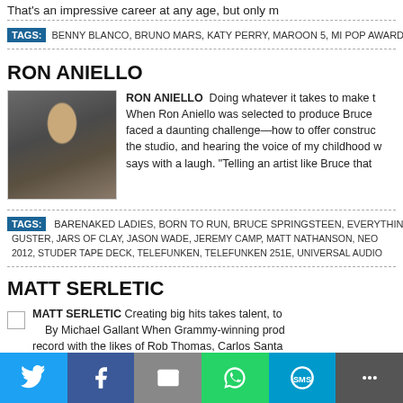That's an impressive career at any age, but only m
TAGS: BENNY BLANCO, BRUNO MARS, KATY PERRY, MAROON 5, MI POP AWARD
RON ANIELLO
[Figure (photo): Photo of Ron Aniello seated in a recording studio]
RON ANIELLO  Doing whatever it takes to make t... When Ron Aniello was selected to produce Bruce ... faced a daunting challenge—how to offer construc... the studio, and hearing the voice of my childhood... says with a laugh. "Telling an artist like Bruce that
TAGS: BARENAKED LADIES, BORN TO RUN, BRUCE SPRINGSTEEN, EVERYTHIN... GUSTER, JARS OF CLAY, JASON WADE, JEREMY CAMP, MATT NATHANSON, NEO... 2012, STUDER TAPE DECK, TELEFUNKEN, TELEFUNKEN 251E, UNIVERSAL AUDIO
MATT SERLETIC
MATT SERLETIC Creating big hits takes talent, to... By Michael Gallant When Grammy-winning prod... record with the likes of Rob Thomas, Carlos Santa... more than a knack for piecing together catchy tun... musician, songwriter, arranger and music business